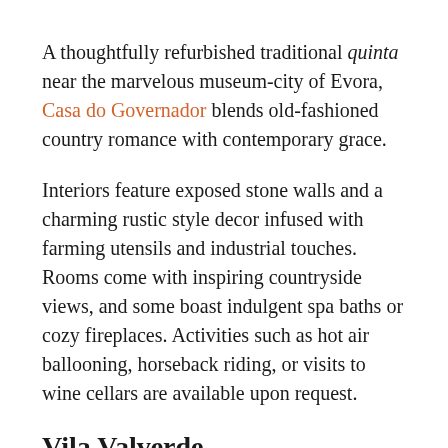A thoughtfully refurbished traditional quinta near the marvelous museum-city of Evora, Casa do Governador blends old-fashioned country romance with contemporary grace.
Interiors feature exposed stone walls and a charming rustic style decor infused with farming utensils and industrial touches. Rooms come with inspiring countryside views, and some boast indulgent spa baths or cozy fireplaces. Activities such as hot air ballooning, horseback riding, or visits to wine cellars are available upon request.
Vila Valverde